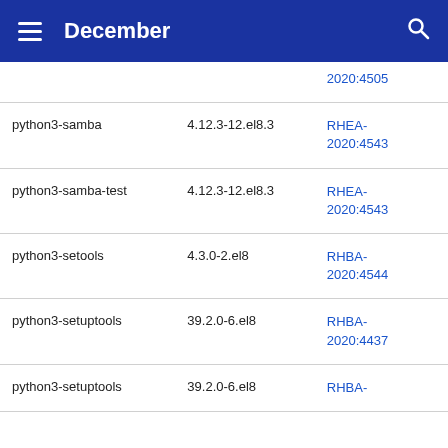December
| Package | Version | Advisory |
| --- | --- | --- |
|  |  | 2020:4505 |
| python3-samba | 4.12.3-12.el8.3 | RHEA-2020:4543 |
| python3-samba-test | 4.12.3-12.el8.3 | RHEA-2020:4543 |
| python3-setools | 4.3.0-2.el8 | RHBA-2020:4544 |
| python3-setuptools | 39.2.0-6.el8 | RHBA-2020:4437 |
| python3-setuptools | 39.2.0-6.el8 | RHBA- |